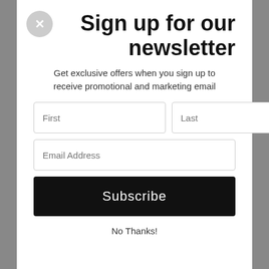Sign up for our newsletter
Get exclusive offers when you sign up to receive promotional and marketing email
First
Last
Email Address
Subscribe
No Thanks!